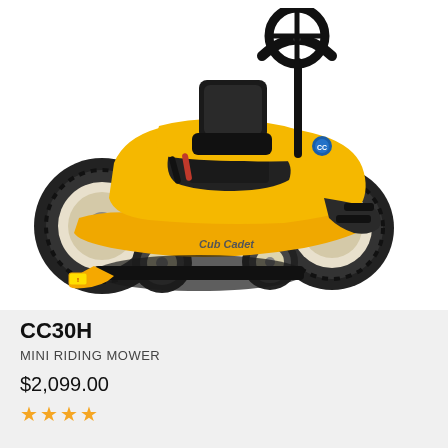[Figure (photo): Yellow Cub Cadet CC30H mini riding mower on white background, showing the compact riding mower with black seat, steering wheel, yellow body, and four wheels]
CC30H
MINI RIDING MOWER
$2,099.00
★★★★ (partial star rating visible)